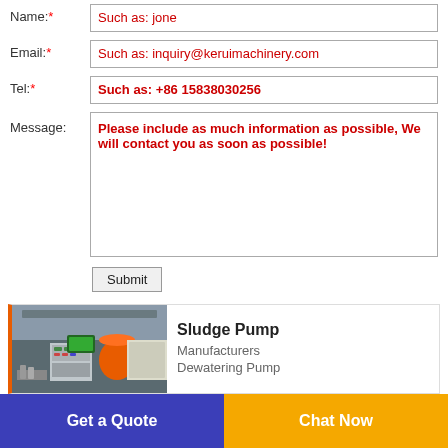Name:* Such as: jone
Email:* Such as: inquiry@keruimachinery.com
Tel:* Such as: +86 15838030256
Message: Please include as much information as possible, We will contact you as soon as possible!
Submit
[Figure (photo): Industrial machinery equipment photo showing sludge pump manufacturing facility]
Sludge Pump
Manufacturers
Dewatering Pump
Get a Quote
Chat Now